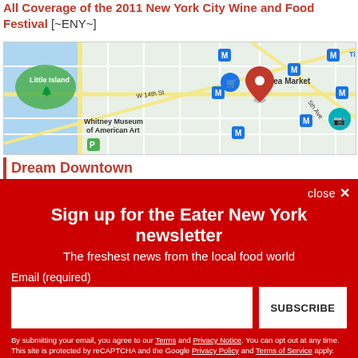All Coverage of the 2011 New York City Wine and Food Festival [~ENY~]
[Figure (map): Google map showing Chelsea area of New York City with landmarks including Little Island, Chelsea Market, Whitney Museum of American Art, W 14th St, 5th Ave, Flatir(on), and various metro station markers. A red location pin is placed near Chelsea Market.]
Dream Downtown
close ×
Sign up for the Eater New York newsletter
The freshest news from the local food world
Email (required)
SUBSCRIBE
By submitting your email, you agree to our Terms and Privacy Notice. You can opt out at any time. This site is protected by reCAPTCHA and the Google Privacy Policy and Terms of Service apply.